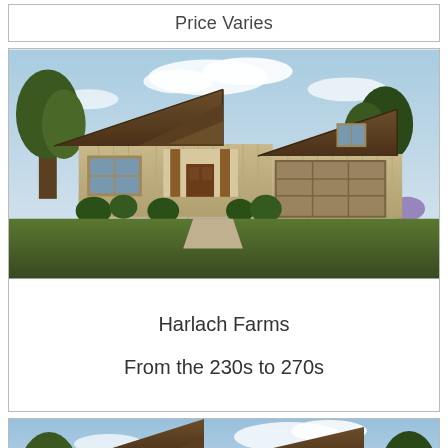Price Varies
[Figure (photo): Exterior rendering of a craftsman-style single-story home with brown siding, gabled roof, and two-car garage at Harlach Farms]
Harlach Farms
From the 230s to 270s
[Figure (photo): Partial exterior rendering of another craftsman-style home with brown roof and beige siding, partially visible at bottom of page]